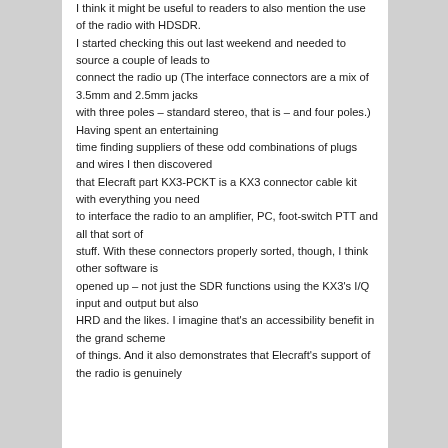I think it might be useful to readers to also mention the use of the radio with HDSDR. I started checking this out last weekend and needed to source a couple of leads to connect the radio up (The interface connectors are a mix of 3.5mm and 2.5mm jacks with three poles – standard stereo, that is – and four poles.) Having spent an entertaining time finding suppliers of these odd combinations of plugs and wires I then discovered that Elecraft part KX3-PCKT is a KX3 connector cable kit with everything you need to interface the radio to an amplifier, PC, foot-switch PTT and all that sort of stuff. With these connectors properly sorted, though, I think other software is opened up – not just the SDR functions using the KX3's I/Q input and output but also HRD and the likes. I imagine that's an accessibility benefit in the grand scheme of things. And it also demonstrates that Elecraft's support of the radio is genuinely